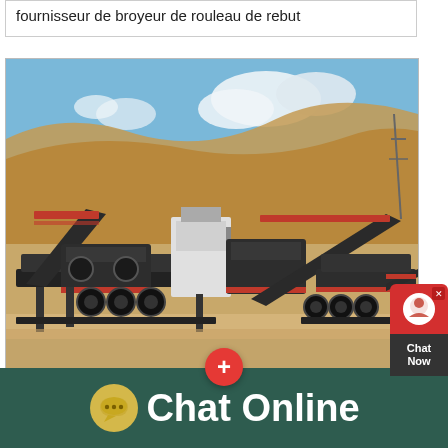fournisseur de broyeur de rouleau de rebut
[Figure (photo): Mobile crushing and screening plant with conveyor belts, set in a rocky/arid landscape with sandy hills and blue sky with clouds in the background.]
Chat Online